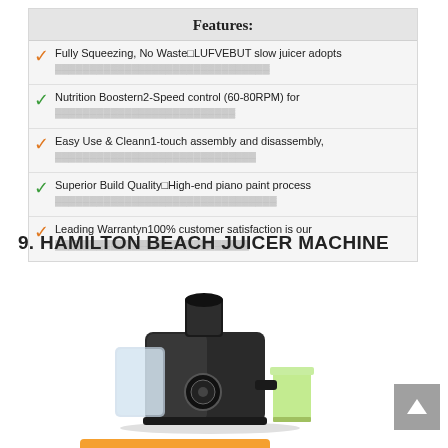Features:
Fully Squeezing, No Waste□LUFVEBUT slow juicer adopts
Nutrition Boostern2-Speed control (60-80RPM) for
Easy Use & Cleann1-touch assembly and disassembly,
Superior Build Quality□High-end piano paint process
Leading Warrantyn100% customer satisfaction is our
9. HAMILTON BEACH JUICER MACHINE
[Figure (photo): Hamilton Beach Juicer Machine product photo showing a black electric juicer with a glass of green juice beside it]